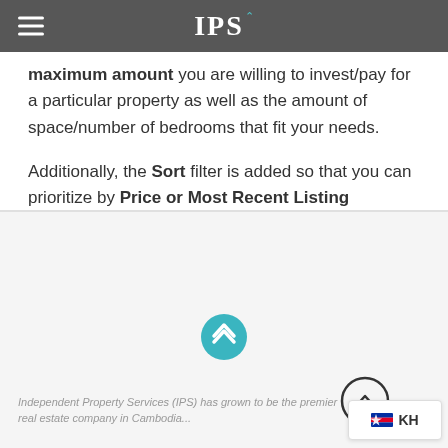IPS
maximum amount you are willing to invest/pay for a particular property as well as the amount of space/number of bedrooms that fit your needs.

Additionally, the Sort filter is added so that you can prioritize by Price or Most Recent Listing available.
[Figure (other): Teal circular scroll-to-top button with upward chevron icon, centered in lower half of page]
[Figure (other): Circular scroll-to-top button with upward chevron icon, positioned bottom right]
[Figure (other): Language selector widget showing Cambodian flag and KH text, bottom right corner]
Independent Property Services (IPS) has grown to be the premier real estate company in Cambodia...